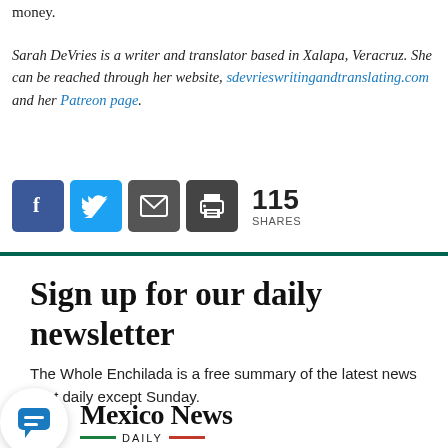money.
Sarah DeVries is a writer and translator based in Xalapa, Veracruz. She can be reached through her website, sdevrieswritingandtranslating.com and her Patreon page.
[Figure (infographic): Social share buttons: Facebook, Twitter, Email, Print icons with count of 115 SHARES]
Sign up for our daily newsletter
The Whole Enchilada is a free summary of the latest news sent daily except Sunday.
[Figure (logo): Mexico News Daily logo with green and red horizontal lines under DAILY text, alongside a chat bubble icon]